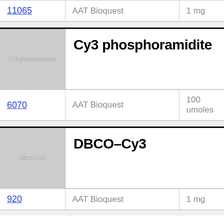| ID | Vendor | Quantity |
| --- | --- | --- |
| 11065 | AAT Bioquest | 1 mg |
| Cy3 phosphoramidite |  |  |
| 6070 | AAT Bioquest | 100 umoles |
| DBCO-Cy3 |  |  |
| 920 | AAT Bioquest | 1 mg |